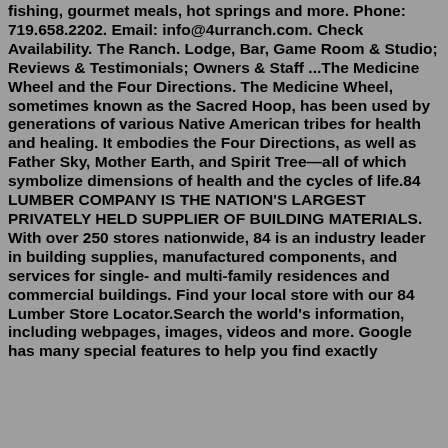fishing, gourmet meals, hot springs and more. Phone: 719.658.2202. Email: info@4urranch.com. Check Availability. The Ranch. Lodge, Bar, Game Room & Studio; Reviews & Testimonials; Owners & Staff ...The Medicine Wheel and the Four Directions. The Medicine Wheel, sometimes known as the Sacred Hoop, has been used by generations of various Native American tribes for health and healing. It embodies the Four Directions, as well as Father Sky, Mother Earth, and Spirit Tree—all of which symbolize dimensions of health and the cycles of life.84 LUMBER COMPANY IS THE NATION'S LARGEST PRIVATELY HELD SUPPLIER OF BUILDING MATERIALS. With over 250 stores nationwide, 84 is an industry leader in building supplies, manufactured components, and services for single- and multi-family residences and commercial buildings. Find your local store with our 84 Lumber Store Locator.Search the world's information, including webpages, images, videos and more. Google has many special features to help you find exactly